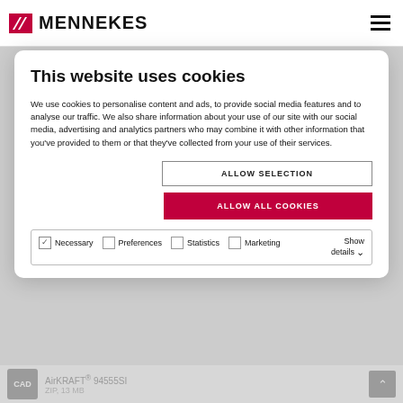MENNEKES
This website uses cookies
We use cookies to personalise content and ads, to provide social media features and to analyse our traffic. We also share information about your use of our site with our social media, advertising and analytics partners who may combine it with other information that you’ve provided to them or that they’ve collected from your use of their services.
ALLOW SELECTION
ALLOW ALL COOKIES
Necessary  Preferences  Statistics  Show details  Marketing
AirKRAFT® 94555SI  ZIP, 13 MB